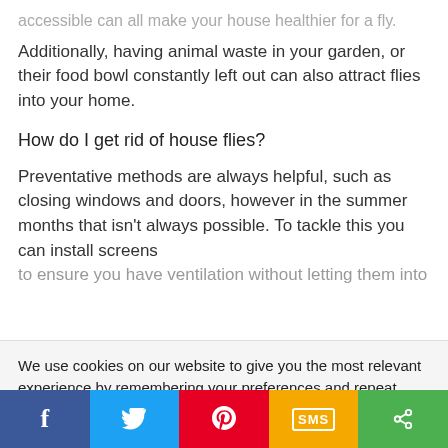accessible can all make your house healthier for a fly.
Additionally, having animal waste in your garden, or their food bowl constantly left out can also attract flies into your home.
How do I get rid of house flies?
Preventative methods are always helpful, such as closing windows and doors, however in the summer months that isn't always possible. To tackle this you can install screens to ensure you have ventilation without letting them into
We use cookies on our website to give you the most relevant experience by remembering your preferences and repeat visits. By clicking “Accept”, you consent to the use of ALL the cookies.
Do not sell my personal information.
[Figure (other): Cookie settings and Accept buttons, plus social sharing bar with Facebook, Twitter, Pinterest, SMS, and Share icons]